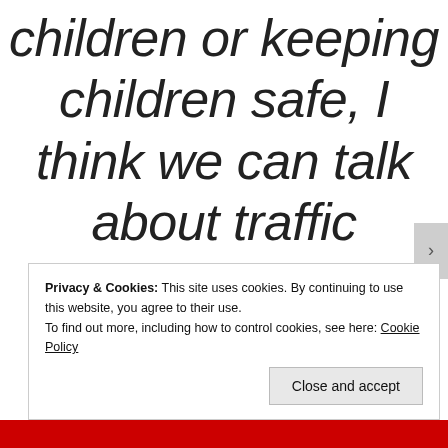children or keeping children safe, I think we can talk about traffic accidents, for
Privacy & Cookies: This site uses cookies. By continuing to use this website, you agree to their use. To find out more, including how to control cookies, see here: Cookie Policy